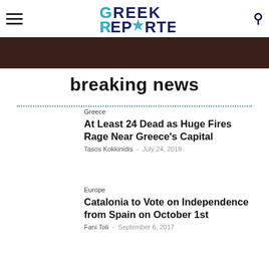GREEK REPORTER
breaking news
Greece
At Least 24 Dead as Huge Fires Rage Near Greece's Capital
Tasos Kokkinidis - July 24, 2018
Europe
Catalonia to Vote on Independence from Spain on October 1st
Fani Toli - September 6, 2017